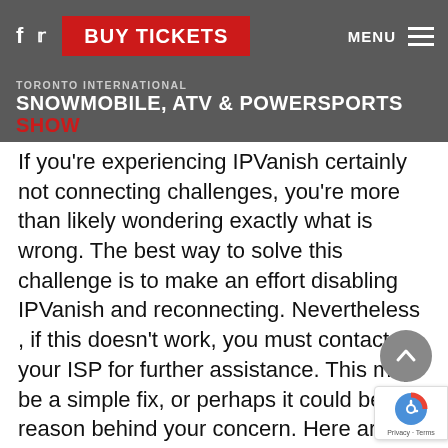f  [twitter]  BUY TICKETS  MENU [≡]
TORONTO INTERNATIONAL
SNOWMOBILE, ATV & POWERSPORTS SHOW
If you're experiencing IPVanish certainly not connecting challenges, you're more than likely wondering exactly what is wrong. The best way to solve this challenge is to make an effort disabling IPVanish and reconnecting. Nevertheless , if this doesn't work, you must contact your ISP for further assistance. This may be a simple fix, or perhaps it could be the reason behind your concern. Here are some solutions:
Make sure that the device facilitates the connection protocol utilized by IPVanish. When your device or network shouldn't support it, you might have to change to another interconnection protocol. If you are using an Android, the connection protocol you use is OpenVPN.